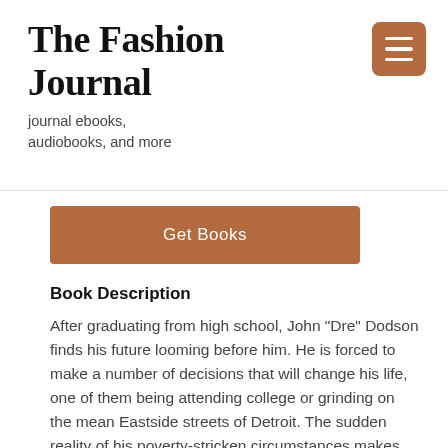The Fashion Journal
journal ebooks, audiobooks, and more
Get Books
Book Description
After graduating from high school, John "Dre" Dodson finds his future looming before him. He is forced to make a number of decisions that will change his life, one of them being attending college or grinding on the mean Eastside streets of Detroit. The sudden reality of his poverty-stricken circumstances makes him painfully aware of the fortunes that can be made if he embarks on the career path of a hustler. Deciding that he wants to be a baller, Dre meets and forms an alliance with an older, very beautiful female